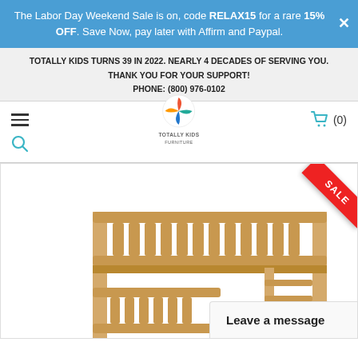The Labor Day Weekend Sale is on, code RELAX15 for a rare 15% OFF. Save Now, pay later with Affirm and Paypal.
TOTALLY KIDS TURNS 39 IN 2022. NEARLY 4 DECADES OF SERVING YOU. THANK YOU FOR YOUR SUPPORT! PHONE: (800) 976-0102
[Figure (logo): Totally Kids Furniture logo with colorful pinwheel icon]
[Figure (photo): Natural wood bunk bed product photo showing slatted headboards and bunk structure with SALE ribbon in top-right corner]
Leave a message